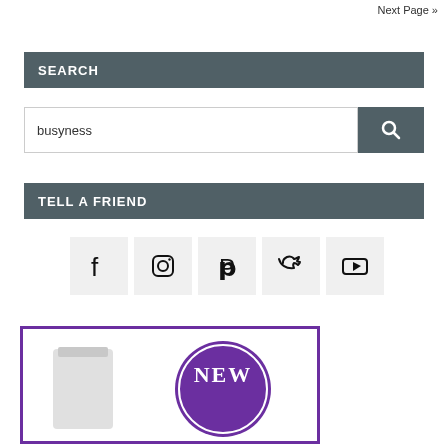Next Page »
SEARCH
busyness
TELL A FRIEND
[Figure (infographic): Row of five social media icon buttons: Facebook, Instagram, Pinterest, Twitter, YouTube]
[Figure (photo): Product banner with purple border showing a product container on the left and a purple circular badge with 'NEW' text on the right]